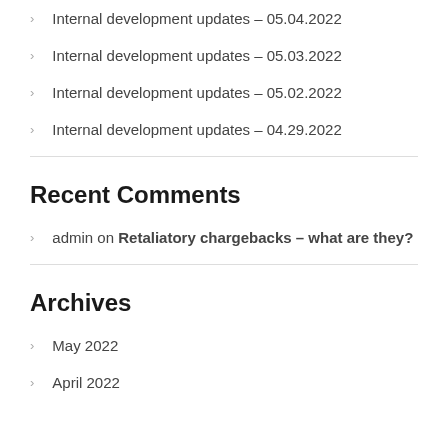Internal development updates – 05.04.2022
Internal development updates – 05.03.2022
Internal development updates – 05.02.2022
Internal development updates – 04.29.2022
Recent Comments
admin on Retaliatory chargebacks – what are they?
Archives
May 2022
April 2022